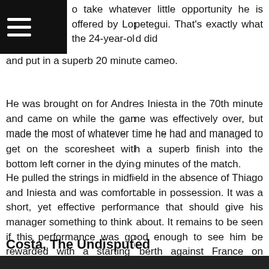o take whatever little opportunity he is offered by Lopetegui. That's exactly what the 24-year-old did and put in a superb 20 minute cameo.
He was brought on for Andres Iniesta in the 70th minute and came on while the game was effectively over, but made the most of whatever time he had and managed to get on the scoresheet with a superb finish into the bottom left corner in the dying minutes of the match.
He pulled the strings in midfield in the absence of Thiago and Iniesta and was comfortable in possession. It was a short, yet effective performance that should give his manager something to think about. It remains to be seen if this performance was good enough to see him be rewarded with a starting berth against France on Tuesday.
Costa, The Undisputed
[Figure (photo): Bottom strip showing a dark photo of a person]